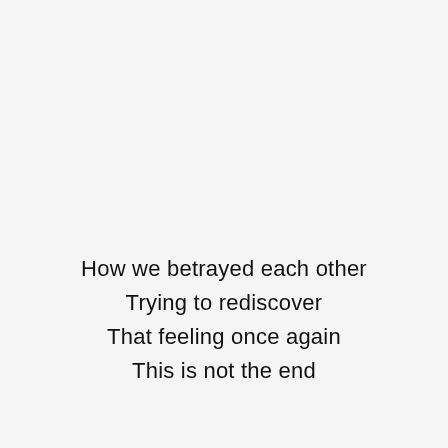How we betrayed each other
Trying to rediscover
That feeling once again
This is not the end